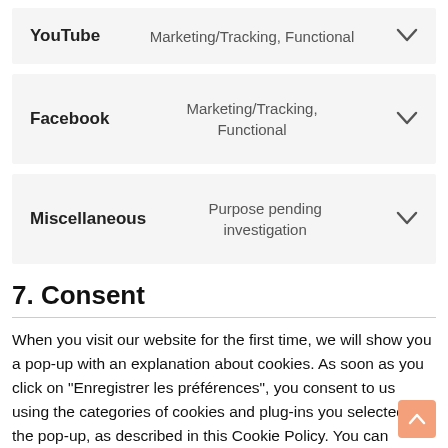| Name | Category | Action |
| --- | --- | --- |
| YouTube | Marketing/Tracking, Functional | ▼ |
| Facebook | Marketing/Tracking,
Functional | ▼ |
| Miscellaneous | Purpose pending investigation | ▼ |
7. Consent
When you visit our website for the first time, we will show you a pop-up with an explanation about cookies. As soon as you click on "Enregistrer les préférences", you consent to us using the categories of cookies and plug-ins you selected in the pop-up, as described in this Cookie Policy. You can disable the use of cookies via your browser, but please note that our website may no longer work properly.